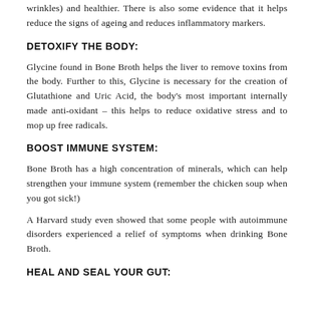wrinkles) and healthier. There is also some evidence that it helps reduce the signs of ageing and reduces inflammatory markers.
DETOXIFY THE BODY:
Glycine found in Bone Broth helps the liver to remove toxins from the body. Further to this, Glycine is necessary for the creation of Glutathione and Uric Acid, the body's most important internally made anti-oxidant – this helps to reduce oxidative stress and to mop up free radicals.
BOOST IMMUNE SYSTEM:
Bone Broth has a high concentration of minerals, which can help strengthen your immune system (remember the chicken soup when you got sick!)
A Harvard study even showed that some people with autoimmune disorders experienced a relief of symptoms when drinking Bone Broth.
HEAL AND SEAL YOUR GUT: